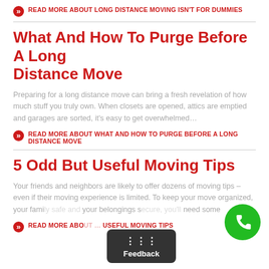READ MORE ABOUT LONG DISTANCE MOVING ISN'T FOR DUMMIES
What And How To Purge Before A Long Distance Move
Preparing for a long distance move can bring a fresh revelation of how much stuff you truly own. When closets are opened, attics are emptied and garages are sorted, it's easy to get overwhelmed…
READ MORE ABOUT WHAT AND HOW TO PURGE BEFORE A LONG DISTANCE MOVE
5 Odd But Useful Moving Tips
Your friends and neighbors are likely to offer dozens of moving tips – even if their moving experience is limited. To keep your move organized, your family safe and your belongings secure, you'll need some
READ MORE ABOUT … USEFUL MOVING TIPS